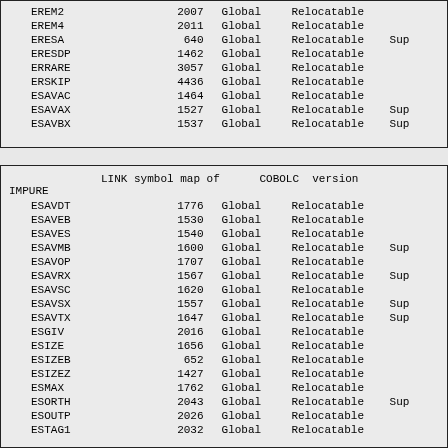| Name | Offset | Scope | Type | Extra |
| --- | --- | --- | --- | --- |
| EREM2 | 2007 | Global | Relocatable |  |
| EREM4 | 2011 | Global | Relocatable |  |
| ERESA | 640 | Global | Relocatable | Sup |
| ERESDP | 1462 | Global | Relocatable |  |
| ERRARE | 3057 | Global | Relocatable |  |
| ERSKIP | 4436 | Global | Relocatable |  |
| ESAVAC | 1464 | Global | Relocatable |  |
| ESAVAX | 1527 | Global | Relocatable | Sup |
| ESAVBX | 1537 | Global | Relocatable | Sup |
LINK symbol map of   COBOLC  version
IMPURE
| Name | Offset | Scope | Type | Extra |
| --- | --- | --- | --- | --- |
| ESAVDT | 1776 | Global | Relocatable |  |
| ESAVEB | 1530 | Global | Relocatable |  |
| ESAVES | 1540 | Global | Relocatable |  |
| ESAVMB | 1600 | Global | Relocatable | Sup |
| ESAVOP | 1707 | Global | Relocatable |  |
| ESAVRX | 1567 | Global | Relocatable | Sup |
| ESAVSC | 1620 | Global | Relocatable |  |
| ESAVSX | 1557 | Global | Relocatable | Sup |
| ESAVTX | 1647 | Global | Relocatable | Sup |
| ESGIV | 2016 | Global | Relocatable |  |
| ESIZE | 1656 | Global | Relocatable |  |
| ESIZEB | 652 | Global | Relocatable |  |
| ESIZEZ | 1427 | Global | Relocatable |  |
| ESMAX | 1762 | Global | Relocatable |  |
| ESORTH | 2043 | Global | Relocatable | Sup |
| ESOUTP | 2026 | Global | Relocatable |  |
| ESTAG1 | 2032 | Global | Relocatable |  |